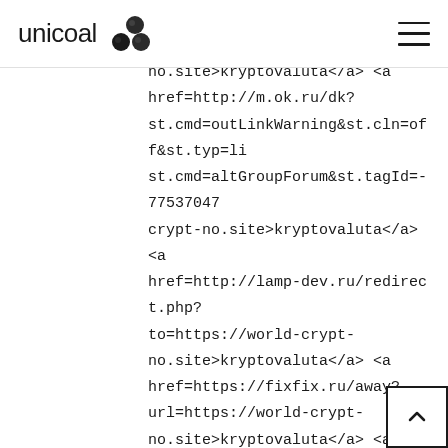unicoal
no.site>kryptovaluta</a> <a href=http://m.ok.ru/dk?st.cmd=outLinkWarning&st.cln=off&st.typ=list.cmd=altGroupForum&st.tagId=-77537047 crypt-no.site>kryptovaluta</a> <a href=http://lamp-dev.ru/redirect.php?to=https://world-crypt-no.site>kryptovaluta</a> <a href=https://fixfix.ru/away?url=https://world-crypt-no.site>kryptovaluta</a> <a href=https://rachelvandolsen-dot-yam track.appspot.com/Redirect?